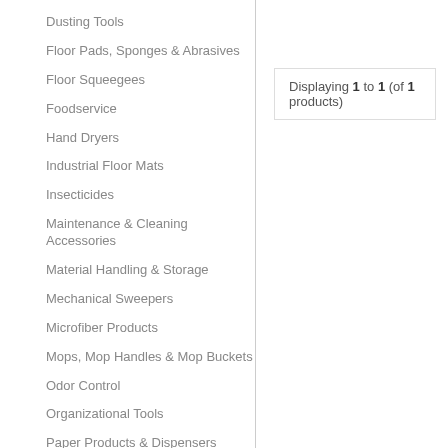Dusting Tools
Floor Pads, Sponges & Abrasives
Floor Squeegees
Foodservice
Hand Dryers
Industrial Floor Mats
Insecticides
Maintenance & Cleaning Accessories
Material Handling & Storage
Mechanical Sweepers
Microfiber Products
Mops, Mop Handles & Mop Buckets
Odor Control
Organizational Tools
Paper Products & Dispensers
Planters
Safety
Displaying 1 to 1 (of 1 products)